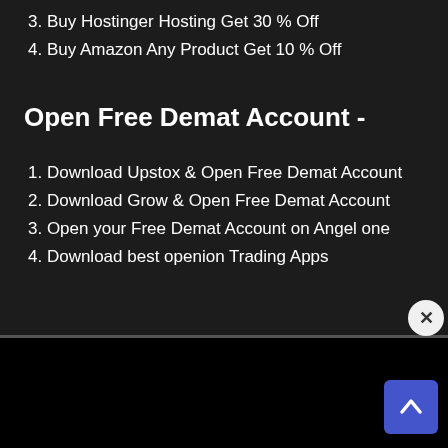3. Buy Hostinger Hosting Get 30 % Off
4. Buy Amazon Any Product Get 10 % Off
Open Free Demat Account -
1. Download Upstox & Open Free Demat Account
2. Download Grow & Open Free Demat Account
3. Open your Free Demat Account on Angel one
4. Download best openion Trading Apps